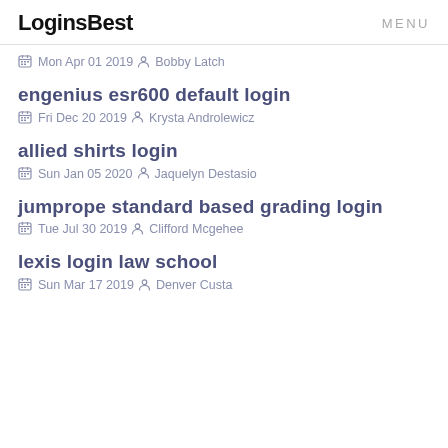LoginsBest   MENU
Mon Apr 01 2019  Bobby Latch
engenius esr600 default login
Fri Dec 20 2019  Krysta Androlewicz
allied shirts login
Sun Jan 05 2020  Jaquelyn Destasio
jumprope standard based grading login
Tue Jul 30 2019  Clifford Mcgehee
lexis login law school
Sun Mar 17 2019  Denver Custa